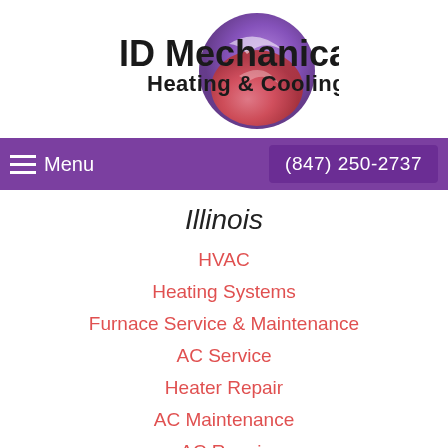[Figure (logo): ID Mechanical Heating & Cooling logo with swirl graphic in purple, blue, and red/pink tones, company name in bold black text]
Menu  (847) 250-2737
Illinois
HVAC
Heating Systems
Furnace Service & Maintenance
AC Service
Heater Repair
AC Maintenance
AC Repair
AC Installation